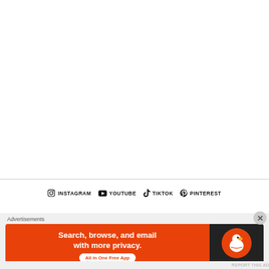INSTAGRAM  YOUTUBE  TIKTOK  PINTEREST
Advertisements
[Figure (screenshot): DuckDuckGo advertisement banner: orange left panel with text 'Search, browse, and email with more privacy. All in One Free App' and dark right panel with DuckDuckGo duck logo]
REPORT THIS AD